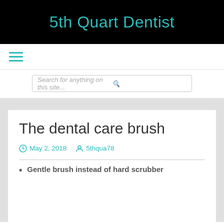5th Quart Dentist
[Figure (other): Hamburger menu icon (three horizontal teal lines)]
Search for anything on this site...
The dental care brush
May 2, 2018  5thqua78
Gentle brush instead of hard scrubber